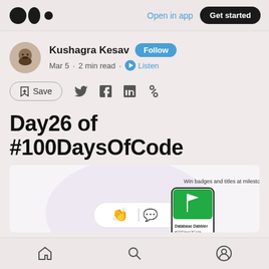Medium logo | Open in app | Get started
Kushagra Kesav · Follow · Mar 5 · 2 min read · Listen
Save (bookmark icon) | Twitter | Facebook | LinkedIn | Link
Day26 of #100DaysOfCode
[Figure (screenshot): Medium article preview card showing 'Win badges and titles at milestones' with a green flag badge labeled 'Database Dabbler' and #100DaysOfCode, plus clap and comment icons]
Home | Search | Profile navigation icons